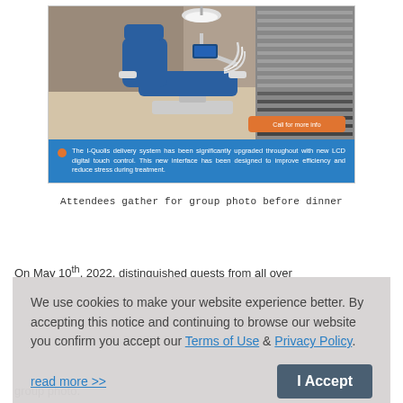[Figure (photo): Dental chair / delivery system product photo in a modern clinic setting with blinds in background. Blue upholstery, white unit arms, overhead light. Orange 'Call for more info' button overlay at bottom right.]
The I-Quolis delivery system has been significantly upgraded throughout with new LCD digital touch control. This new interface has been designed to improve efficiency and reduce stress during treatment.
Attendees gather for group photo before dinner
On May 10th, 2022, distinguished guests from all over
We use cookies to make your website experience better. By accepting this notice and continuing to browse our website you confirm you accept our Terms of Use & Privacy Policy.

read more >>

I Accept
group photo.